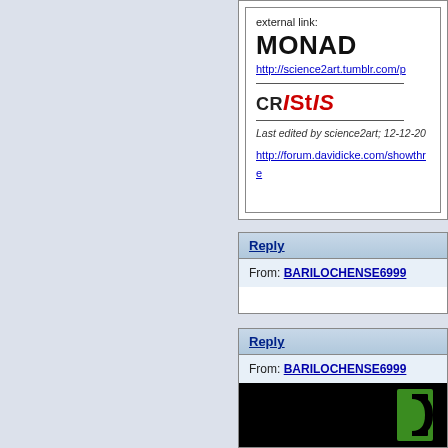external link:
MONAD
http://science2art.tumblr.com/p
crIStIS
Last edited by science2art; 12-12-20
http://forum.davidicke.com/showthre
Reply
From: BARILOCHENSE6999
Reply
From: BARILOCHENSE6999
[Figure (screenshot): Black background image with green block letter visible at bottom right]